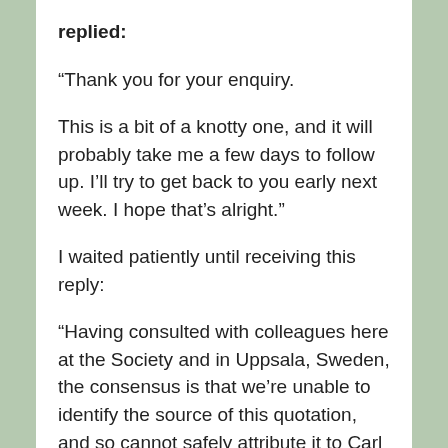replied:
“Thank you for your enquiry.
This is a bit of a knotty one, and it will probably take me a few days to follow up. I’ll try to get back to you early next week. I hope that’s alright.”
I waited patiently until receiving this reply:
“Having consulted with colleagues here at the Society and in Uppsala, Sweden, the consensus is that we’re unable to identify the source of this quotation, and so cannot safely attribute it to Carl Linnaeus.
One thing we can say fairly conclusively is that it cannot be a direct quotation. Linnaeus lived in